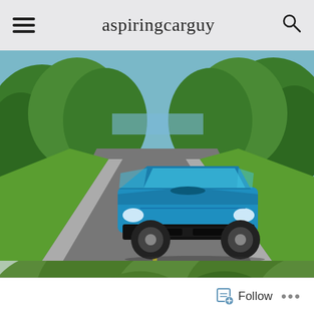aspiringcarguy
[Figure (photo): Blue Dodge Challenger muscle car driving on a two-lane road surrounded by green trees and grass, photographed from the front at a slight angle]
[Figure (photo): Abandoned rusted vintage green SUV/truck parked in overgrown vegetation next to a dilapidated old building with a rusted roof, with a star marker sign visible in the upper right]
Follow ...